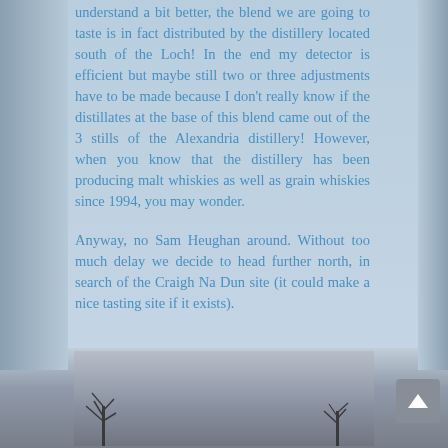understand a bit better, the blend we are going to taste is in fact distributed by the distillery located south of the Loch! In the end my detector is efficient but maybe still two or three adjustments have to be made because I don't really know if the distillates at the base of this blend came out of the 3 stills of the Alexandria distillery! However, when you know that the distillery has been producing malt whiskies as well as grain whiskies since 1994, you may wonder.
Anyway, no Sam Heughan around. Without too much delay we decide to head further north, in search of the Craigh Na Dun site (it could make a nice tasting site if it exists).
[Figure (photo): A grey overcast sky with bare trees visible at the bottom, landscape photo taken outdoors in what appears to be winter or early spring]